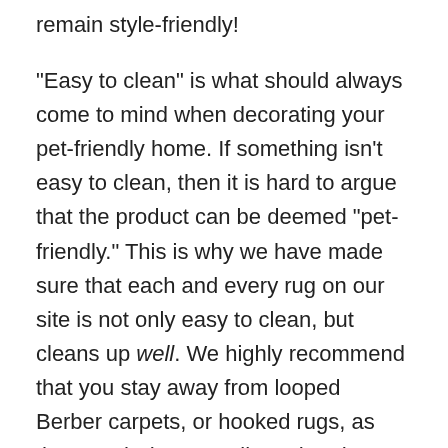remain style-friendly!
"Easy to clean" is what should always come to mind when decorating your pet-friendly home. If something isn't easy to clean, then it is hard to argue that the product can be deemed "pet-friendly." This is why we have made sure that each and every rug on our site is not only easy to clean, but cleans up well. We highly recommend that you stay away from looped Berber carpets, or hooked rugs, as they catch dog toenails and end up unraveling.
Even if your pet is well-housebroken, we suggest our Pet Friendly Rugs because they hide fur well and will not be damaged by a vacuum.
Our Pet Friendly Rugs are durable enough to be vacuumed by a standard household vacuum cleaner